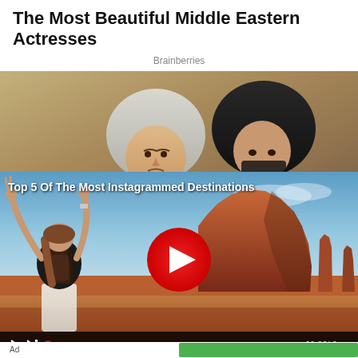The Most Beautiful Middle Eastern Actresses
Brainberries
[Figure (photo): Two young women wearing headscarves, one in light grey/white and one in black, photographed against a sandy/stone background.]
[Figure (screenshot): Video player showing a woman with a backpack raising her arms in front of Monument Valley desert landscape. Title reads 'Top 5 Of The Most Instagrammed Destinations'. Large red play button in center. Video controls at bottom with time 00:00/0. Ad label and green button at very bottom.]